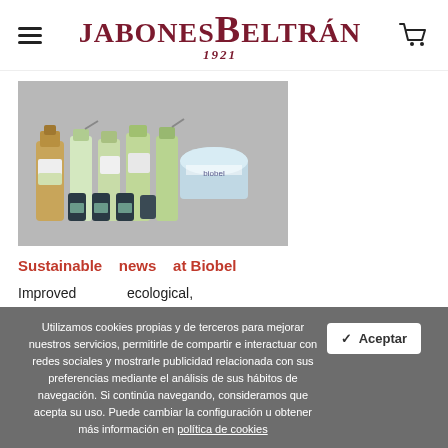JABONES BELTRÁN 1921
[Figure (photo): Group of Biobel cleaning product bottles and containers arranged together on a light gray background]
Sustainable news at Biobel
Improved ecological, effective and healthy cleaning: new image, improved formulas...
Utilizamos cookies propias y de terceros para mejorar nuestros servicios, permitirle de compartir e interactuar con redes sociales y mostrarle publicidad relacionada con sus preferencias mediante el análisis de sus hábitos de navegación. Si continúa navegando, consideramos que acepta su uso. Puede cambiar la configuración u obtener más información en política de cookies